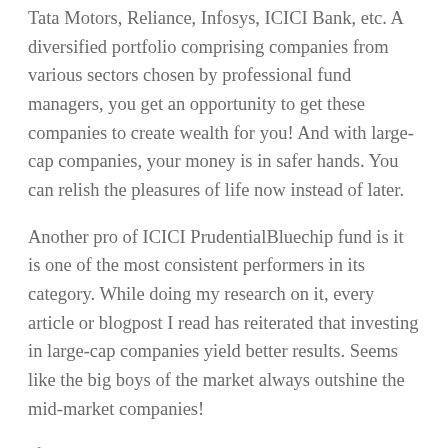Tata Motors, Reliance, Infosys, ICICI Bank, etc. A diversified portfolio comprising companies from various sectors chosen by professional fund managers, you get an opportunity to get these companies to create wealth for you! And with large-cap companies, your money is in safer hands. You can relish the pleasures of life now instead of later.
Another pro of ICICI PrudentialBluechip fund is it is one of the most consistent performers in its category. While doing my research on it, every article or blogpost I read has reiterated that investing in large-cap companies yield better results. Seems like the big boys of the market always outshine the mid-market companies!
If you have a moderately high risk appetite and can use the “buy and hold approach” this fund is for you. I hope this was helpful for you and has made you consider long-term investments in large companies. After all, tarakki karein